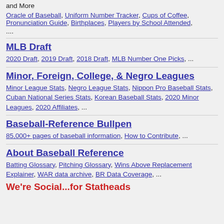and More
Oracle of Baseball, Uniform Number Tracker, Cups of Coffee, Pronunciation Guide, Birthplaces, Players by School Attended, ....
MLB Draft
2020 Draft, 2019 Draft, 2018 Draft, MLB Number One Picks, ...
Minor, Foreign, College, & Negro Leagues
Minor League Stats, Negro League Stats, Nippon Pro Baseball Stats, Cuban National Series Stats, Korean Baseball Stats, 2020 Minor Leagues, 2020 Affiliates, ...
Baseball-Reference Bullpen
85,000+ pages of baseball information, How to Contribute, ...
About Baseball Reference
Batting Glossary, Pitching Glossary, Wins Above Replacement Explainer, WAR data archive, BR Data Coverage, ...
We're Social...for Statheads